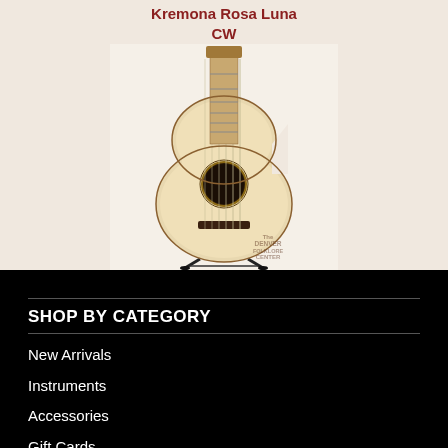Kremona Rosa Luna CW
[Figure (photo): Acoustic classical guitar with cutaway body on a stand, photographed against white background. The Denver Folklore Center watermark visible in lower right corner.]
SHOP BY CATEGORY
New Arrivals
Instruments
Accessories
Gift Cards